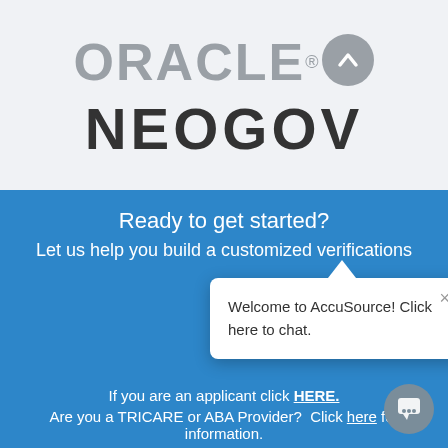[Figure (logo): Oracle logo with circular badge containing upward chevron, followed by NEOGOV text logo below]
Ready to get started?
Let us help you build a customized verifications
[Figure (screenshot): Chat popup widget: 'Welcome to AccuSource! Click here to chat.' with close X button and caret arrow pointing up]
If you are an applicant click HERE.
Are you a TRICARE or ABA Provider?  Click here for information.